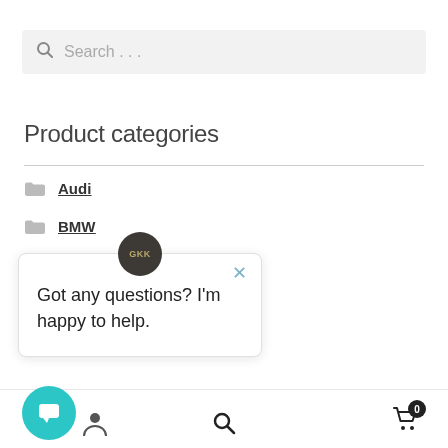[Figure (screenshot): Search bar with magnifying glass icon and placeholder text 'Search ...']
Product categories
Audi
BMW
[Figure (screenshot): Chat popup with avatar, close button, and message 'Got any questions? I'm happy to help.']
ports Asian
[Figure (screenshot): Bottom navigation bar with chat button, person icon, search icon, and cart icon showing badge '0']